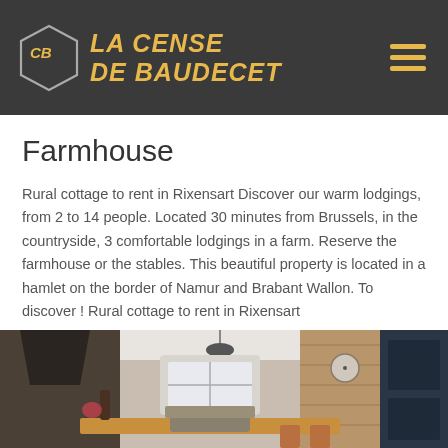La Cense de Baudecet
Farmhouse
Rural cottage to rent in Rixensart Discover our warm lodgings, from 2 to 14 people. Located 30 minutes from Brussels, in the countryside, 3 comfortable lodgings in a farm. Reserve the farmhouse or the stables. This beautiful property is located in a hamlet on the border of Namur and Brabant Wallon. To discover ! Rural cottage to rent in Rixensart
[Figure (photo): Interior photo of a farmhouse showing a dining/kitchen area with wood table, pendant black lamp, wood accent wall, dark cabinet, and open living space beyond]